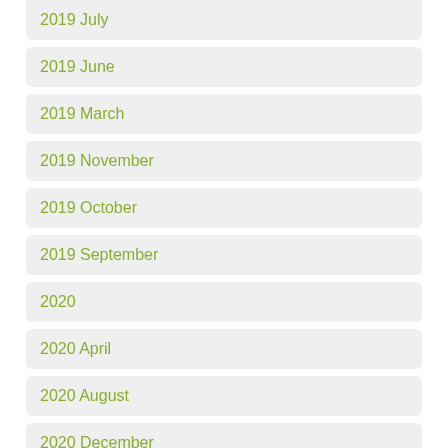2019 July
2019 June
2019 March
2019 November
2019 October
2019 September
2020
2020 April
2020 August
2020 December
2020 February
2020 January